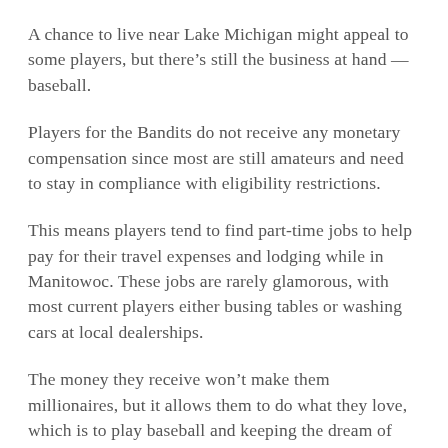A chance to live near Lake Michigan might appeal to some players, but there’s still the business at hand — baseball.
Players for the Bandits do not receive any monetary compensation since most are still amateurs and need to stay in compliance with eligibility restrictions.
This means players tend to find part-time jobs to help pay for their travel expenses and lodging while in Manitowoc. These jobs are rarely glamorous, with most current players either busing tables or washing cars at local dealerships.
The money they receive won’t make them millionaires, but it allows them to do what they love, which is to play baseball and keeping the dream of playing in the major leagues alive.